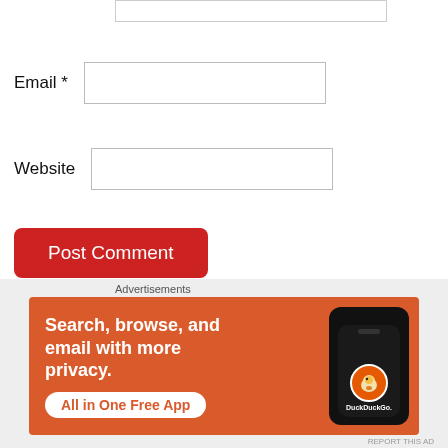Email *
Website
Post Comment
Notify me of new comments via email.
Notify me of new posts via email.
Advertisements
[Figure (other): DuckDuckGo advertisement banner with text: Search, browse, and email with more privacy. All in One Free App. Shows a phone with DuckDuckGo logo.]